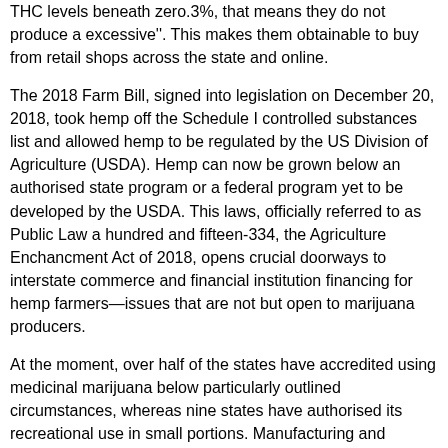THC levels beneath zero.3%, that means they do not produce a excessive''. This makes them obtainable to buy from retail shops across the state and online.
The 2018 Farm Bill, signed into legislation on December 20, 2018, took hemp off the Schedule I controlled substances list and allowed hemp to be regulated by the US Division of Agriculture (USDA). Hemp can now be grown below an authorised state program or a federal program yet to be developed by the USDA. This laws, officially referred to as Public Law a hundred and fifteen-334, the Agriculture Enchancment Act of 2018, opens crucial doorways to interstate commerce and financial institution financing for hemp farmers—issues that are not but open to marijuana producers.
At the moment, over half of the states have accredited using medicinal marijuana below particularly outlined circumstances, whereas nine states have authorised its recreational use in small portions. Manufacturing and distribution pointers differ by state, as well Georgia Cbd as the shape in which the product may be sold. Nonetheless, the federal government continues to criminalize the expansion, cultivation, and use of marijuana whatever the